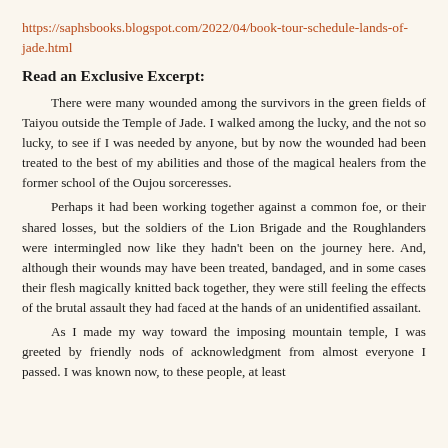https://saphsbooks.blogspot.com/2022/04/book-tour-schedule-lands-of-jade.html
Read an Exclusive Excerpt:
There were many wounded among the survivors in the green fields of Taiyou outside the Temple of Jade. I walked among the lucky, and the not so lucky, to see if I was needed by anyone, but by now the wounded had been treated to the best of my abilities and those of the magical healers from the former school of the Oujou sorceresses.

Perhaps it had been working together against a common foe, or their shared losses, but the soldiers of the Lion Brigade and the Roughlanders were intermingled now like they hadn't been on the journey here. And, although their wounds may have been treated, bandaged, and in some cases their flesh magically knitted back together, they were still feeling the effects of the brutal assault they had faced at the hands of an unidentified assailant.

As I made my way toward the imposing mountain temple, I was greeted by friendly nods of acknowledgment from almost everyone I passed. I was known now, to these people, at least